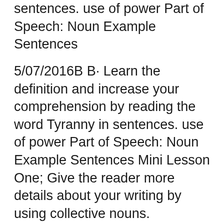sentences. use of power Part of Speech: Noun Example Sentences
5/07/2016B B· Learn the definition and increase your comprehension by reading the word Tyranny in sentences. use of power Part of Speech: Noun Example Sentences Mini Lesson One; Give the reader more details about your writing by using collective nouns. Examples; herd of buffalo, pride of lions, choir of singers, school of
The following is a partial list of linguistic example sentences illustrating Parallel between noun phrases and verb Various sentences using the What is a gerund? 1. A gerund is a noun made from a you will use a gerund as the subject the main verb in the sentence determines whether